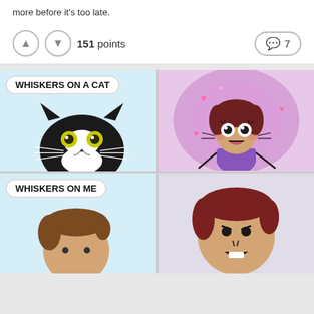more before it's too late.
151 points  7 comments
[Figure (illustration): Four-panel comic: top-left shows a tuxedo cat with text 'WHISKERS ON A CAT', top-right shows an excited cartoon person with pink glow and hearts, bottom-left shows a person with text 'WHISKERS ON ME', bottom-right shows a disgusted/shocked reaction face cartoon person.]